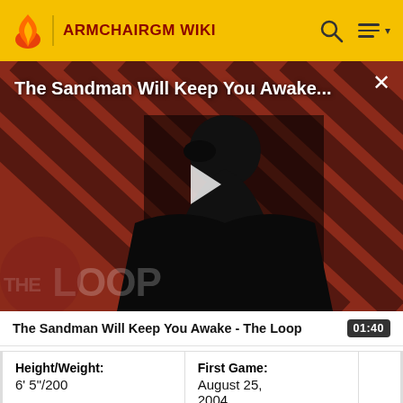ARMCHAIRGM WIKI
[Figure (screenshot): Video thumbnail for 'The Sandman Will Keep You Awake - The Loop' showing a figure in black with a raven, red and black striped background, play button overlay, and 'THE LOOP' watermark]
The Sandman Will Keep You Awake - The Loop
| Height/Weight | First Game |  |
| --- | --- | --- |
| 6' 5"/200 | August 25, 2004 |  |
| Birthdate: | MLB |  |